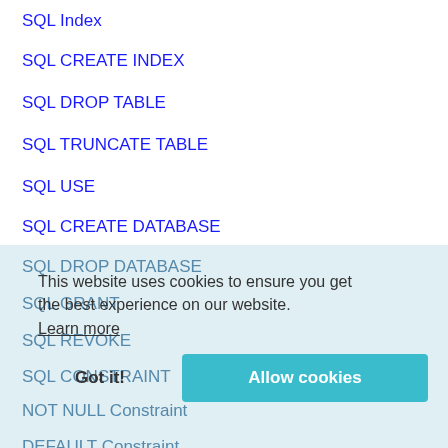SQL Index
SQL CREATE INDEX
SQL DROP TABLE
SQL TRUNCATE TABLE
SQL USE
SQL CREATE DATABASE
SQL DROP DATABASE
SQL GRANT
SQL REVOKE
SQL CONSTRAINT
NOT NULL Constraint
DEFAULT Constraint
This website uses cookies to ensure you get the best experience on our website. Learn more Got it! Allow cookies